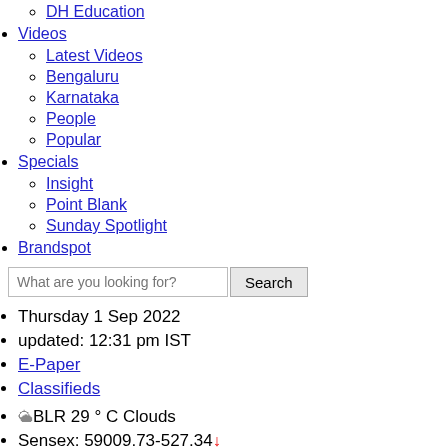DH Education
Videos
Latest Videos
Bengaluru
Karnataka
People
Popular
Specials
Insight
Point Blank
Sunday Spotlight
Brandspot
What are you looking for? Search
Thursday 1 Sep 2022
updated: 12:31 pm IST
E-Paper
Classifieds
BLR 29 ° C Clouds
Sensex: 59009.73-527.34 ↓
Nifty: 17589.05-170.25 ↓